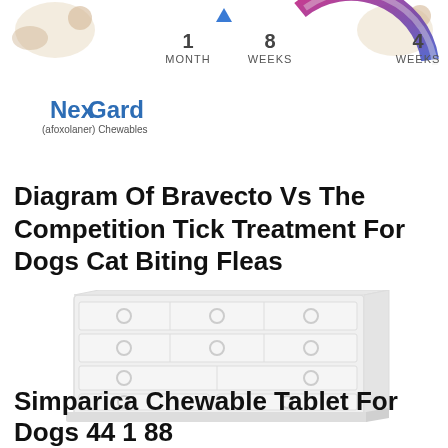[Figure (infographic): Top section showing timeline comparison with 1 MONTH, 8 WEEKS, 4 WEEKS labels, NexGard and Bravecto logos with a circular arc graphic]
Diagram Of Bravecto Vs The Competition Tick Treatment For Dogs Cat Biting Fleas
[Figure (illustration): White chest of drawers / dresser with multiple drawers and circular handles]
Simparica Chewable Tablet For Dogs 44 1 88